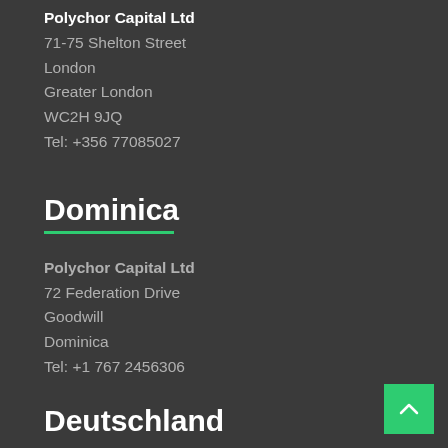Polychor Capital Ltd
71-75 Shelton Street
London
Greater London
WC2H 9JQ
Tel: +356 77085027
Dominica
Polychor Capital Ltd
72 Federation Drive
Goodwill
Dominica
Tel: +1 767 2456306
Deutschland